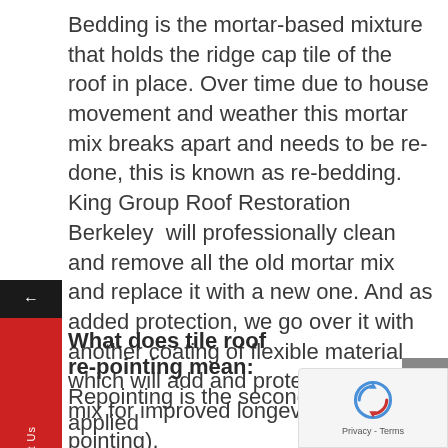Bedding is the mortar-based mixture that holds the ridge cap tile of the roof in place. Over time due to house movement and weather this mortar mix breaks apart and needs to be re-done, this is known as re-bedding. King Group Roof Restoration Berkeley  will professionally clean and remove all the old mortar mix and replace it with a new one. And as added protection, we go over it with another coating of flexible material which will add and protect the mortar mix for improved longevity (known as pointing).
What does tile roof re-pointing mean:
Repointing is the second layer that is applied